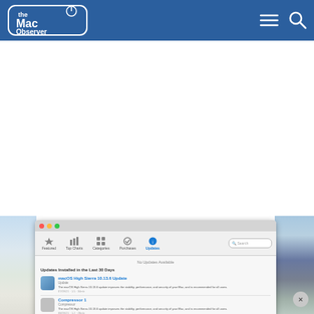The Mac Observer
[Figure (screenshot): Mac App Store window showing 'No Updates Available' and 'Updates Installed in the Last 30 Days' section with macOS High Sierra 10.13.6 update listed]
[Figure (photo): Background photo showing mountain/lake landscape with sky]